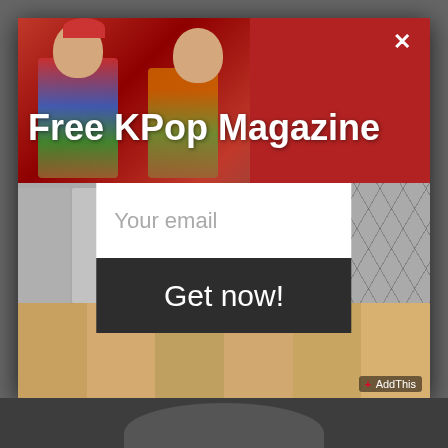[Figure (screenshot): Modal popup overlay on a KPop website. Contains a top image of KPop girl group, text 'Free KPop Magazine', an email input field with placeholder 'Your email', a dark 'Get now!' button, a middle section showing a KPop boy group with hexagonal background, a bottom section showing a KPop girl group, and an AddThis badge. A close (X) button appears in the top-right corner.]
Free KPop Magazine
Your email
Get now!
AddThis